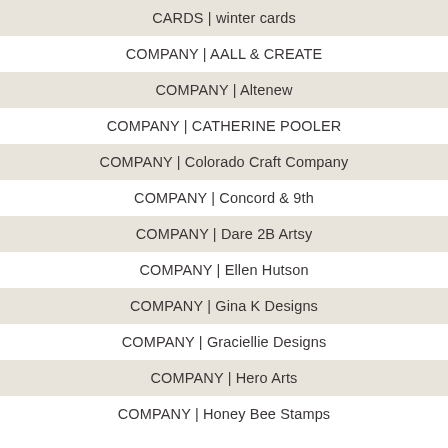CARDS | winter cards
COMPANY | AALL & CREATE
COMPANY | Altenew
COMPANY | CATHERINE POOLER
COMPANY | Colorado Craft Company
COMPANY | Concord & 9th
COMPANY | Dare 2B Artsy
COMPANY | Ellen Hutson
COMPANY | Gina K Designs
COMPANY | Graciellie Designs
COMPANY | Hero Arts
COMPANY | Honey Bee Stamps